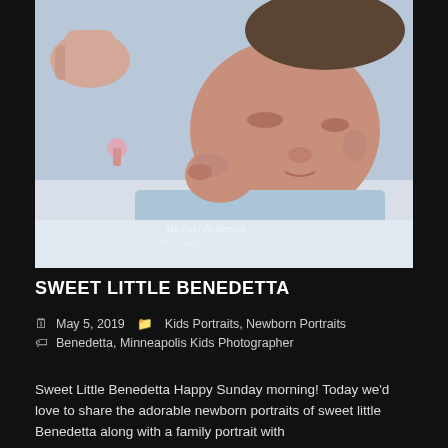[Figure (photo): Close-up newborn portrait of a sleeping baby named Benedetta, wearing a light blue outfit, lying on a white fluffy blanket. A parent's hand is visible supporting the baby's head. The photo has a watermark that reads 'Michael Anderson' style text. Dark background surrounds the photo.]
SWEET LITTLE BENEDETTA
May 5, 2019   Kids Portraits, Newborn Portraits   Benedetta, Minneapolis Kids Photographer
Sweet Little Benedetta Happy Sunday morning! Today we'd love to share the adorable newborn portraits of sweet little Benedetta along with a family portrait with